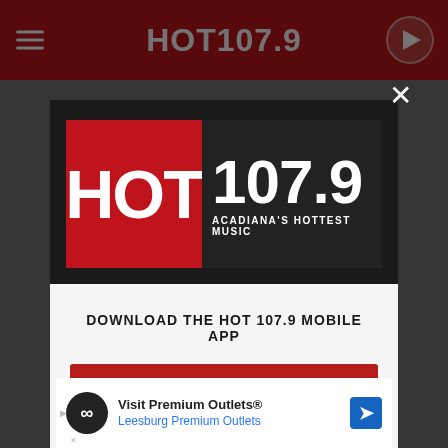[Figure (screenshot): HOT 107.9 radio station website screenshot with red header showing hamburger menu, HOT 107.9 logo, and play button]
[Figure (logo): HOT 107.9 - Acadiana's Hottest Music logo. Red section with HOT text and white circle O, black section with 107.9 and tagline ACADIANA'S HOTTEST MUSIC]
DOWNLOAD THE HOT 107.9 MOBILE APP
GET OUR FREE MOBILE APP
Also listen on: amazon alexa
Visit Premium Outlets® Leesburg Premium Outlets